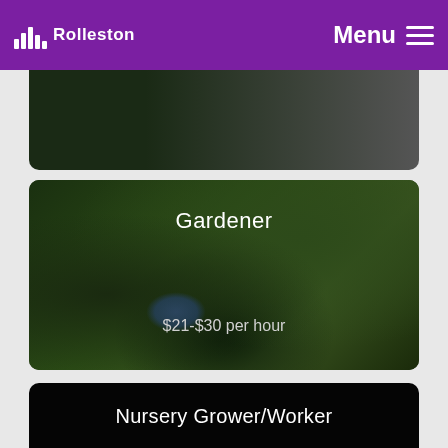Rolleston  Menu
[Figure (photo): Partial view of a dark landscape/garden photo card at top]
[Figure (photo): Gardener job listing card with dark green aerial garden background. Title: Gardener. Price: $21-$30 per hour]
[Figure (photo): Nursery Grower/Worker job listing card with black background. Title: Nursery Grower/Worker. Price: $21-$25 per hour]